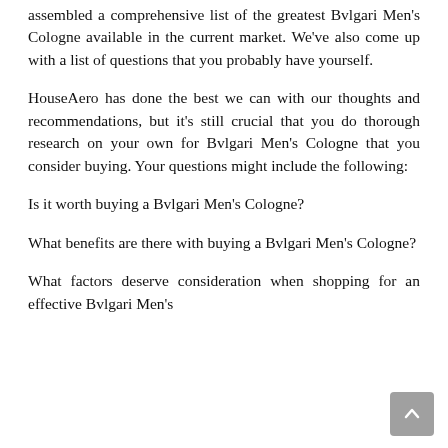assembled a comprehensive list of the greatest Bvlgari Men's Cologne available in the current market. We've also come up with a list of questions that you probably have yourself.
HouseAero has done the best we can with our thoughts and recommendations, but it's still crucial that you do thorough research on your own for Bvlgari Men's Cologne that you consider buying. Your questions might include the following:
Is it worth buying a Bvlgari Men's Cologne?
What benefits are there with buying a Bvlgari Men's Cologne?
What factors deserve consideration when shopping for an effective Bvlgari Men's